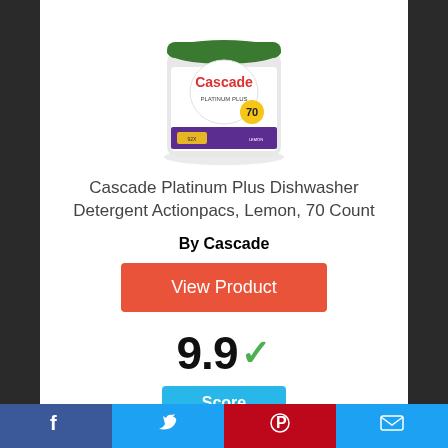[Figure (photo): Cascade Platinum Plus Dishwasher Detergent tub product image, green lid, white container, 70 count]
Cascade Platinum Plus Dishwasher Detergent Actionpacs, Lemon, 70 Count
By Cascade
View Product
9.9 ✓
Score
Facebook | Twitter | Pinterest | Email